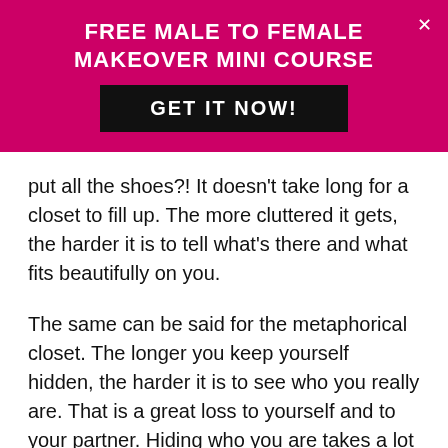FREE MALE TO FEMALE MAKEOVER MINI COURSE
GET IT NOW!
put all the shoes?! It doesn't take long for a closet to fill up. The more cluttered it gets, the harder it is to tell what's there and what fits beautifully on you.
The same can be said for the metaphorical closet. The longer you keep yourself hidden, the harder it is to see who you really are. That is a great loss to yourself and to your partner. Hiding who you are takes a lot of energy that is better spent on keeping the sparkle in your relationship and enriching your experiences in life. Hiding who you are also causes a lot of stress and unnecessary strain on you and your relationships.